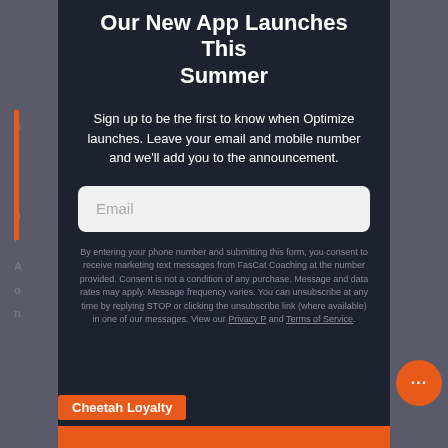Our New App Launches This Summer
Sign up to be the first to know when Optimize launches. Leave your email and mobile number and we'll add you to the announcement.
Email
By entering your phone number and submitting this form, you consent to receive marketing text messages from FasCat Coaching at the number provided. Consent is not a condition of any purchase. Message and data rates may apply. Message frequency varies. You can unsubscribe at any time by replying STOP or clicking the unsubscribe link (where available) in one of our messages. View our Privacy P... and Terms of Service.
Cheetah Loyalty